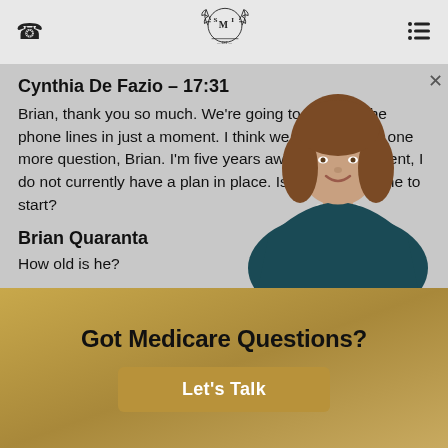SMI logo header with phone icon and menu icon
Cynthia De Fazio – 17:31
Brian, thank you so much. We're going to open up the phone lines in just a moment. I think we have time for one more question, Brian. I'm five years away from retirement, I do not currently have a plan in place. Is it too late for me to start?
Brian Quaranta
How old is he?
[Figure (photo): Woman with shoulder-length brown hair, smiling, wearing a dark teal blouse and pearl necklace]
Got Medicare Questions?
Let's Talk